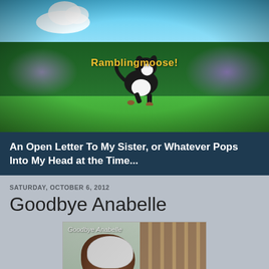[Figure (photo): Blog header photo showing a black and white dog running on green grass with hedges and blue sky in the background. Blog name 'Ramblingmoose!' overlaid in yellow text.]
An Open Letter To My Sister, or Whatever Pops Into My Head at the Time...
SATURDAY, OCTOBER 6, 2012
Goodbye Anabelle
[Figure (photo): Photo of a dog wearing a white bandage/wrap, sitting near a wooden fence with candles visible. Text 'Goodbye Anabelle' overlaid on the image.]